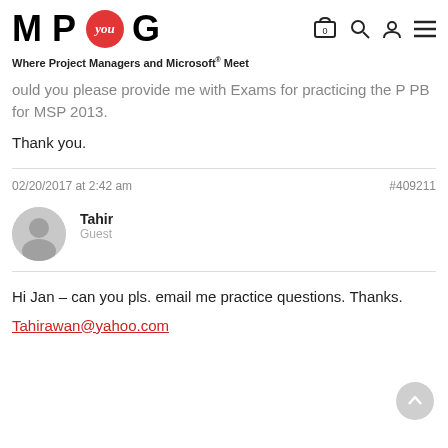M P you G — Where Project Managers and Microsoft® Meet
ould you please provide me with Exams for practicing the P PB for MSP 2013.
Thank you.
02/20/2017 at 2:42 am   #409211
Tahir
Guest
Hi Jan – can you pls. email me practice questions. Thanks.
Tahirawan@yahoo.com